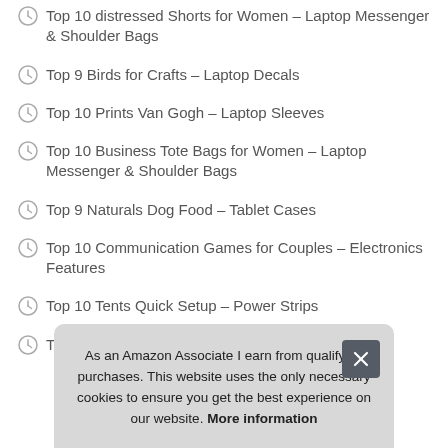Top 10 distressed Shorts for Women – Laptop Messenger & Shoulder Bags
Top 9 Birds for Crafts – Laptop Decals
Top 10 Prints Van Gogh – Laptop Sleeves
Top 10 Business Tote Bags for Women – Laptop Messenger & Shoulder Bags
Top 9 Naturals Dog Food – Tablet Cases
Top 10 Communication Games for Couples – Electronics Features
Top 10 Tents Quick Setup – Power Strips
T
As an Amazon Associate I earn from qualifying purchases. This website uses the only necessary cookies to ensure you get the best experience on our website. More information